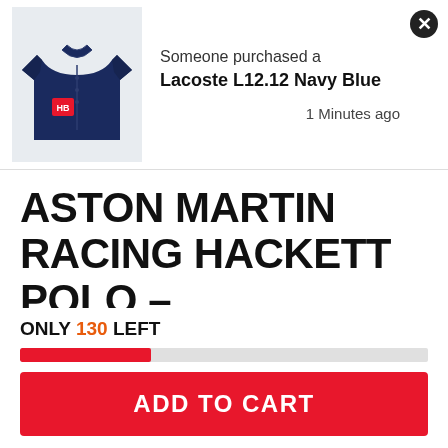[Figure (screenshot): Notification popup showing a navy blue polo shirt image with text: Someone purchased a Lacoste L12.12 Navy Blue, 1 Minutes ago. Close button (X) in top right.]
ASTON MARTIN RACING HACKETT POLO – GRAY/BLACK
₦14,000.00
Quantity
ONLY 130 LEFT
ADD TO CART